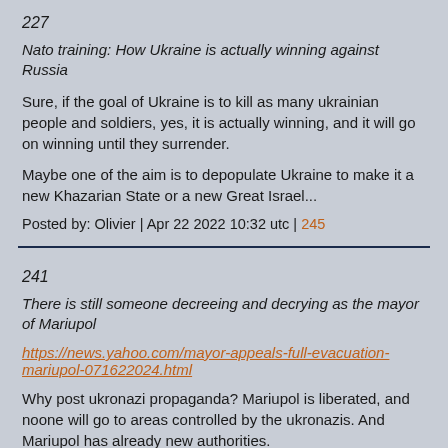227
Nato training: How Ukraine is actually winning against Russia
Sure, if the goal of Ukraine is to kill as many ukrainian people and soldiers, yes, it is actually winning, and it will go on winning until they surrender.
Maybe one of the aim is to depopulate Ukraine to make it a new Khazarian State or a new Great Israel...
Posted by: Olivier | Apr 22 2022 10:32 utc | 245
241
There is still someone decreeing and decrying as the mayor of Mariupol
https://news.yahoo.com/mayor-appeals-full-evacuation-mariupol-071622024.html
Why post ukronazi propaganda? Mariupol is liberated, and noone will go to areas controlled by the ukronazis. And Mariupol has already new authorities.
Posted by: Olivier | Apr 22 2022 10:41 utc | 246